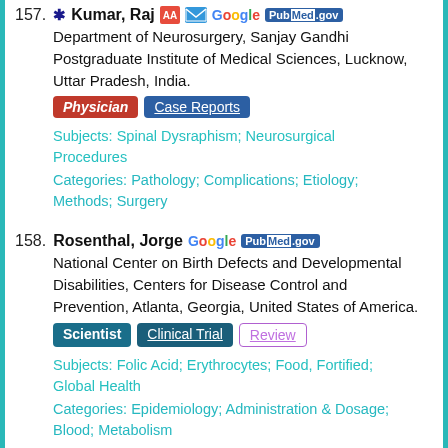157. Kumar, Raj — Department of Neurosurgery, Sanjay Gandhi Postgraduate Institute of Medical Sciences, Lucknow, Uttar Pradesh, India. [Physician] [Case Reports] Subjects: Spinal Dysraphism; Neurosurgical Procedures Categories: Pathology; Complications; Etiology; Methods; Surgery
158. Rosenthal, Jorge — National Center on Birth Defects and Developmental Disabilities, Centers for Disease Control and Prevention, Atlanta, Georgia, United States of America. [Scientist] [Clinical Trial] [Review] Subjects: Folic Acid; Erythrocytes; Food, Fortified; Global Health Categories: Epidemiology; Administration & Dosage; Blood; Metabolism